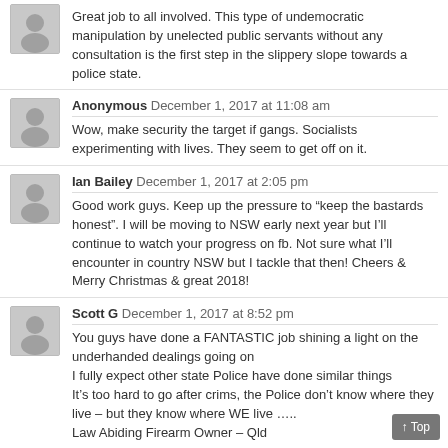Great job to all involved. This type of undemocratic manipulation by unelected public servants without any consultation is the first step in the slippery slope towards a police state.
Anonymous December 1, 2017 at 11:08 am
Wow, make security the target if gangs. Socialists experimenting with lives. They seem to get off on it.
Ian Bailey December 1, 2017 at 2:05 pm
Good work guys. Keep up the pressure to "keep the bastards honest". I will be moving to NSW early next year but I'll continue to watch your progress on fb. Not sure what I'll encounter in country NSW but I tackle that then! Cheers & Merry Christmas & great 2018!
Scott G December 1, 2017 at 8:52 pm
You guys have done a FANTASTIC job shining a light on the underhanded dealings going on
I fully expect other state Police have done similar things
It's too hard to go after crims, the Police don't know where they live – but they know where WE live …..
Law Abiding Firearm Owner – Qld